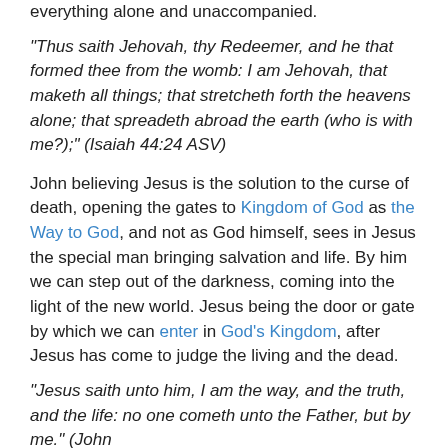everything alone and unaccompanied.
“Thus saith Jehovah, thy Redeemer, and he that formed thee from the womb: I am Jehovah, that maketh all things; that stretcheth forth the heavens alone; that spreadeth abroad the earth (who is with me?);” (Isaiah 44:24 ASV)
John believing Jesus is the solution to the curse of death, opening the gates to Kingdom of God as the Way to God, and not as God himself, sees in Jesus the special man bringing salvation and life. By him we can step out of the darkness, coming into the light of the new world. Jesus being the door or gate by which we can enter in God’s Kingdom, after Jesus has come to judge the living and the dead.
“Jesus saith unto him, I am the way, and the truth, and the life: no one cometh unto the Father, but by me.” (John